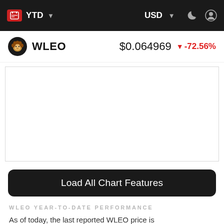YTD   USD
WLEO   $0.064969   -72.56%
[Figure (other): Empty white chart area placeholder with border, representing the WLEO YTD price chart region (content not visible/loaded)]
Load All Chart Features
WLEO YEAR-TO-DATE PERFORMANCE
As of today, the last reported WLEO price is